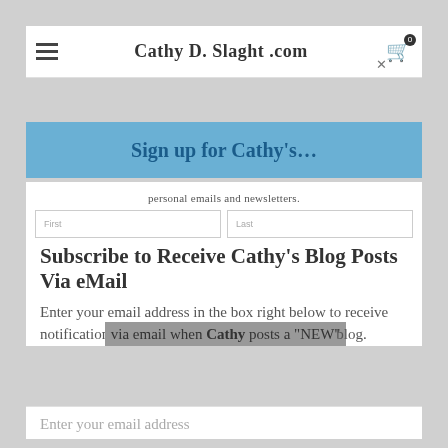Cathy D. Slaght .com
[Figure (infographic): Blue banner with text 'Sign up for Cathy's...' and subtitle 'personal emails and newsletters.']
Subscribe to Receive Cathy's Blog Posts Via eMail
Enter your email address in the box right below to receive notifications via email when Cathy posts a "NEW" blog.
Enter your email address